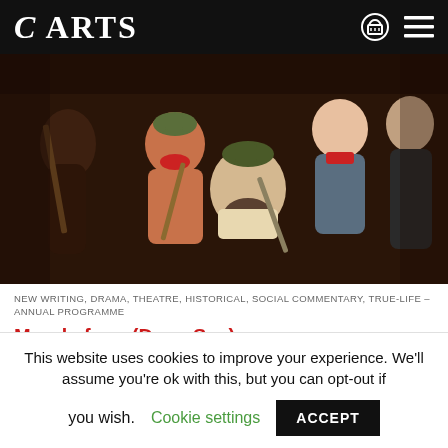C ARTS
[Figure (photo): Theatre production photo showing multiple actors in historical costumes, some holding weapons/rifles, set against a dark wooden background. A woman in orange top with a green hat and a bearded man with a bandage are prominently featured.]
NEW WRITING, DRAMA, THEATRE, HISTORICAL, SOCIAL COMMENTARY, TRUE-LIFE – ANNUAL PROGRAMME
Mar de fons (Deep Sea)
C ARTS | C venues | C digital
This website uses cookies to improve your experience. We'll assume you're ok with this, but you can opt-out if you wish.
Cookie settings
ACCEPT